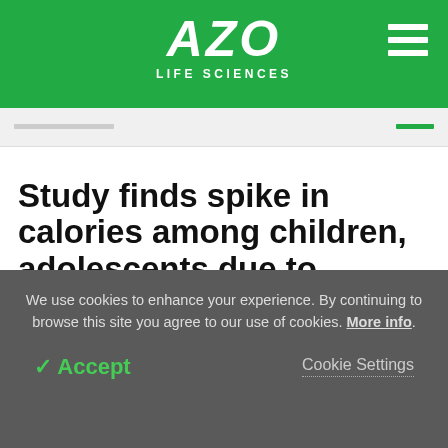AZO LIFE SCIENCES
Study finds spike in calories among children, adolescents due to consumption of ultraprocessed foods
We use cookies to enhance your experience. By continuing to browse this site you agree to our use of cookies. More info.
✓ Accept   Cookie Settings